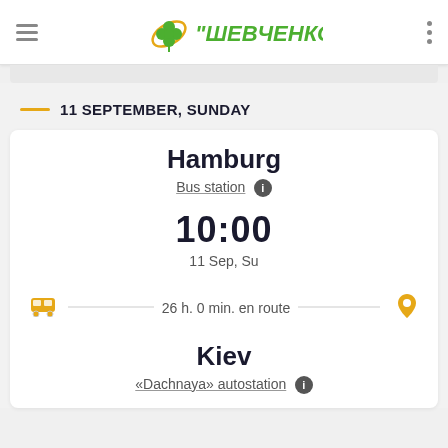"ШЕВЧЕНКО"
11 SEPTEMBER, SUNDAY
Hamburg
Bus station
10:00
11 Sep, Su
26 h. 0 min. en route
Kiev
«Dachnaya» autostation